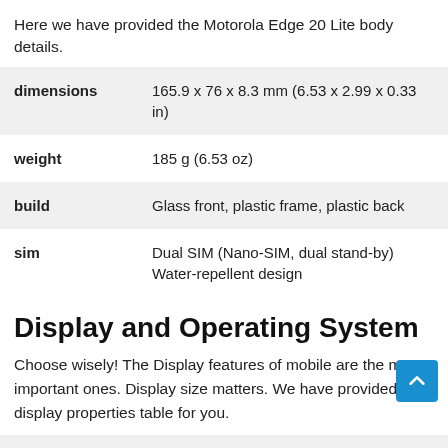Here we have provided the Motorola Edge 20 Lite body details.
|  |  |
| --- | --- |
| dimensions | 165.9 x 76 x 8.3 mm (6.53 x 2.99 x 0.33 in) |
| weight | 185 g (6.53 oz) |
| build | Glass front, plastic frame, plastic back |
| sim | Dual SIM (Nano-SIM, dual stand-by)
Water-repellent design |
Display and Operating System
Choose wisely! The Display features of mobile are the most important ones. Display size matters. We have provided the display properties table for you.
|  |  |
| --- | --- |
| type | OLED, 1B colors, 90Hz, HDR10+ |